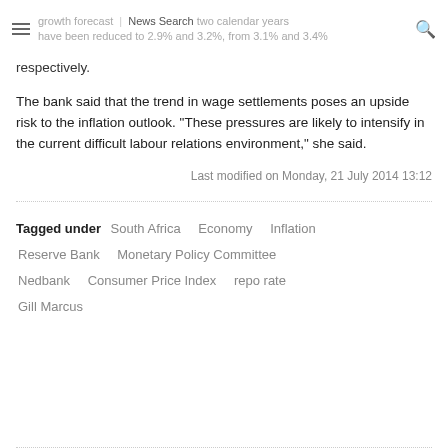growth forecast | News Search two calendar years have been reduced to 2.9% and 3.2%, from 3.1% and 3.4%
respectively.
The bank said that the trend in wage settlements poses an upside risk to the inflation outlook. "These pressures are likely to intensify in the current difficult labour relations environment," she said.
Last modified on Monday, 21 July 2014 13:12
Tagged under  South Africa  Economy  Inflation  Reserve Bank  Monetary Policy Committee  Nedbank  Consumer Price Index  repo rate  Gill Marcus